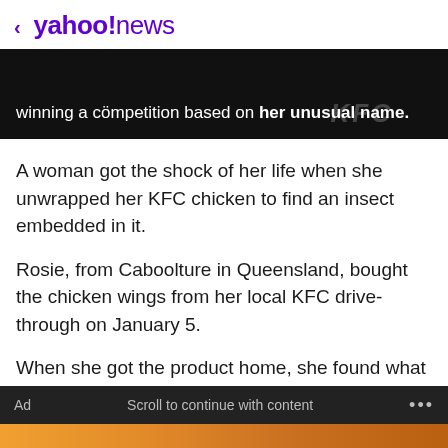< yahoo!news
[Figure (screenshot): Dark banner image showing text 'winning a competition based on her unusual name.' with KFC logo visible in background]
A woman got the shock of her life when she unwrapped her KFC chicken to find an insect embedded in it.
Rosie, from Caboolture in Queensland, bought the chicken wings from her local KFC drive-through on January 5.
When she got the product home, she found what appeared to be a dead flying ant under the crispy coating of a chicken wing.
Ad    Scroll to continue with content    ...